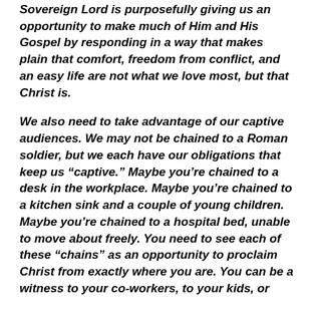Sovereign Lord is purposefully giving us an opportunity to make much of Him and His Gospel by responding in a way that makes plain that comfort, freedom from conflict, and an easy life are not what we love most, but that Christ is.
We also need to take advantage of our captive audiences. We may not be chained to a Roman soldier, but we each have our obligations that keep us “captive.” Maybe you’re chained to a desk in the workplace. Maybe you’re chained to a kitchen sink and a couple of young children. Maybe you’re chained to a hospital bed, unable to move about freely. You need to see each of these “chains” as an opportunity to proclaim Christ from exactly where you are. You can be a witness to your co-workers, to your kids, or